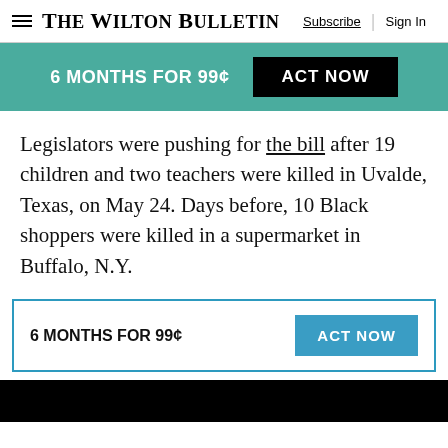The Wilton Bulletin | Subscribe | Sign In
[Figure (infographic): Teal promotional banner reading '6 MONTHS FOR 99¢' with a black 'ACT NOW' button]
Legislators were pushing for the bill after 19 children and two teachers were killed in Uvalde, Texas, on May 24. Days before, 10 Black shoppers were killed in a supermarket in Buffalo, N.Y.
[Figure (infographic): White promotional box with teal border reading '6 MONTHS FOR 99¢' and a blue 'ACT NOW' button]
[Figure (photo): Black image or photo strip at the bottom of the page]